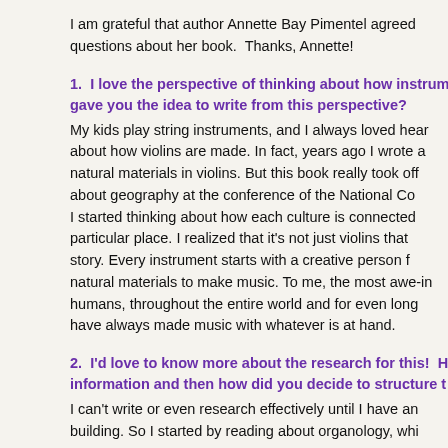I am grateful that author Annette Bay Pimentel agreed to answer questions about her book.  Thanks, Annette!
1.  I love the perspective of thinking about how instruments... gave you the idea to write from this perspective?
My kids play string instruments, and I always loved hearing about how violins are made. In fact, years ago I wrote a... natural materials in violins. But this book really took off... about geography at the conference of the National Co... I started thinking about how each culture is connected... particular place. I realized that it's not just violins that... story. Every instrument starts with a creative person f... natural materials to make music. To me, the most awe-in... humans, throughout the entire world and for even long... have always made music with whatever is at hand.
2.  I'd love to know more about the research for this!  H... information and then how did you decide to structure t... I can't write or even research effectively until I have an... building. So I started by reading about organology, whi...